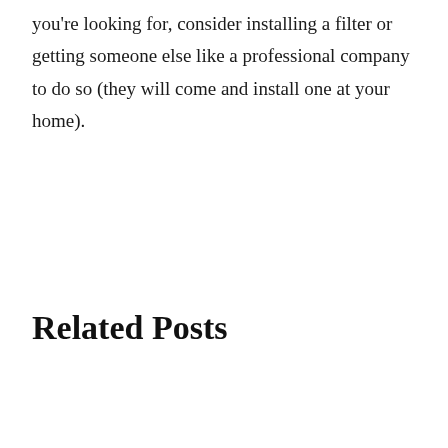you're looking for, consider installing a filter or getting someone else like a professional company to do so (they will come and install one at your home).
Related Posts